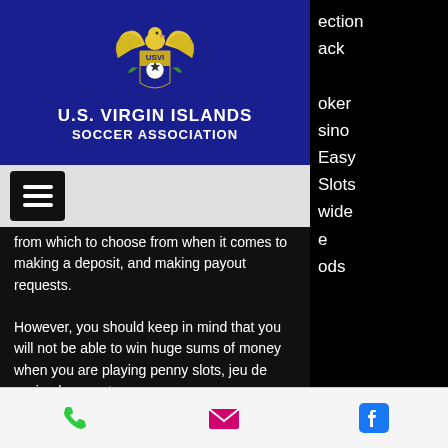[Figure (logo): U.S. Virgin Islands Soccer Association crest with eagle and shield, on blue background]
U.S. VIRGIN ISLANDS
SOCCER ASSOCIATION
ection
ack
oker
sino
Easy
Slots
wide
e
ods
[Figure (other): Hamburger menu button (three horizontal bars) on dark background]
from which to choose from when it comes to making a deposit, and making payout requests.
However, you should keep in mind that you will not be able to win huge sums of money when you are playing penny slots, jeu de casino baccarat.
More chili, More wins! Collect your grand Moon jackpot, jeu de casino baccarat. Spin
Phone | Email | Facebook